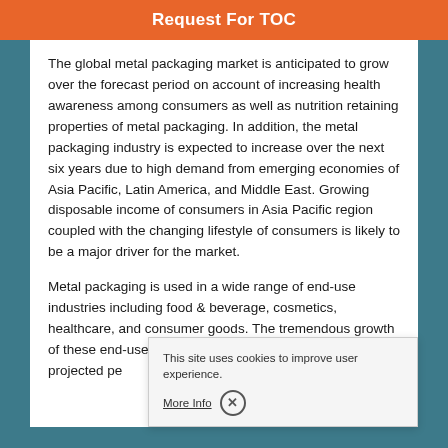Request For TOC
The global metal packaging market is anticipated to grow over the forecast period on account of increasing health awareness among consumers as well as nutrition retaining properties of metal packaging. In addition, the metal packaging industry is expected to increase over the next six years due to high demand from emerging economies of Asia Pacific, Latin America, and Middle East. Growing disposable income of consumers in Asia Pacific region coupled with the changing lifestyle of consumers is likely to be a major driver for the market.
Metal packaging is used in a wide range of end-use industries including food & beverage, cosmetics, healthcare, and consumer goods. The tremendous growth of these end-use industries i... market over the projected pe... factors have a direct or indir...